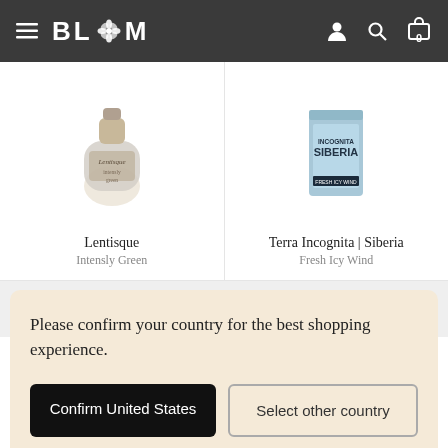BLOOM
[Figure (photo): Product photo of Lentisque perfume bottle]
Lentisque
Intensly Green
[Figure (photo): Product photo of Terra Incognita Siberia]
Terra Incognita | Siberia
Fresh Icy Wind
More similar suggestions for Snowy Owl
Please confirm your country for the best shopping experience.
Confirm United States
Select other country